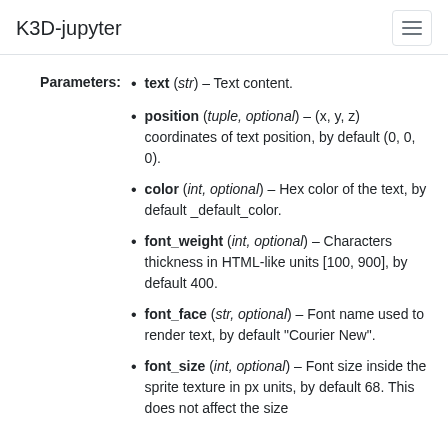K3D-jupyter
text (str) – Text content.
position (tuple, optional) – (x, y, z) coordinates of text position, by default (0, 0, 0).
color (int, optional) – Hex color of the text, by default _default_color.
font_weight (int, optional) – Characters thickness in HTML-like units [100, 900], by default 400.
font_face (str, optional) – Font name used to render text, by default "Courier New".
font_size (int, optional) – Font size inside the sprite texture in px units, by default 68. This does not affect the size